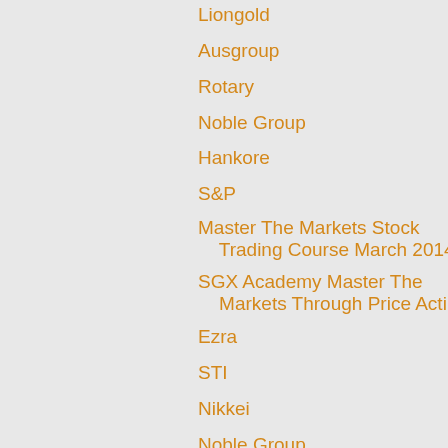Liongold
Ausgroup
Rotary
Noble Group
Hankore
S&P
Master The Markets Stock Trading Course March 2014...
SGX Academy Master The Markets Through Price Acti...
Ezra
STI
Nikkei
Noble Group
Ezion
Gold
Dow Jones
Liongold